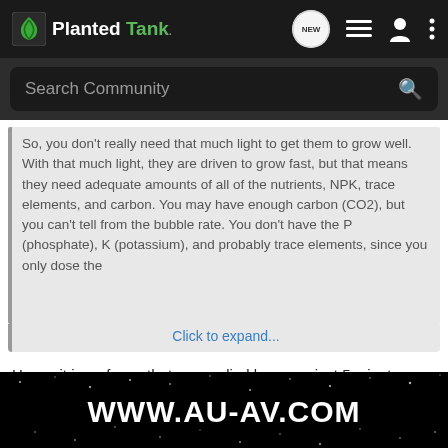Planted Tank — Navigation bar with NEW, list, user, and more icons
Search Community
So, you don't really need that much light to get them to grow well. With that much light, they are driven to grow fast, but that means they need adequate amounts of all of the nutrients, NPK, trace elements, and carbon. You may have enough carbon (CO2), but you can't tell from the bubble rate. You don't have the P (phosphate), K (potassium), and probably trace elements, since you only dose the
Click to expand...
Hoppy it is so funny that you replied because just 5 minutes before reading this I read a post from you about the window screen:
http://www.plantedtank.net/forums/10-lighting/114756-window-screen-light-filter.html
I looked up ways to raise my light fixture and this came up to help reduce the light. I was going to use ceiling fan blade hangers to raise it:
[Figure (other): Advertisement overlay showing WWW.AU-AV.COM on a dark starry background]